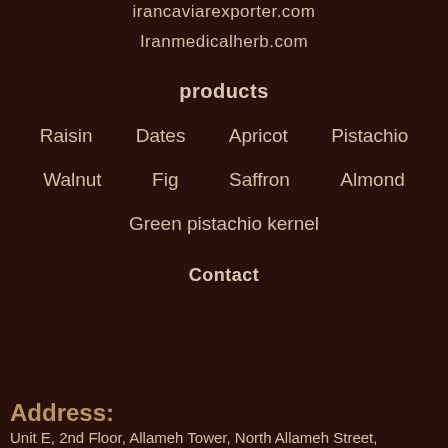irancaviarexporter.com
Iranmedicalherb.com
products
Raisin
Dates
Apricot
Pistachio
Walnut
Fig
Saffron
Almond
Green pistachio kernel
Contact
Address:
Unit E, 2nd Floor, Allameh Tower, North Allameh Street,